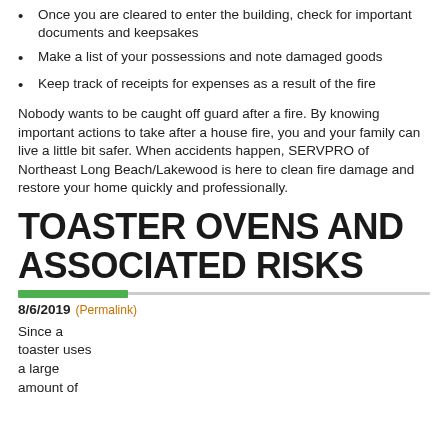Once you are cleared to enter the building, check for important documents and keepsakes
Make a list of your possessions and note damaged goods
Keep track of receipts for expenses as a result of the fire
Nobody wants to be caught off guard after a fire. By knowing important actions to take after a house fire, you and your family can live a little bit safer. When accidents happen, SERVPRO of Northeast Long Beach/Lakewood is here to clean fire damage and restore your home quickly and professionally.
TOASTER OVENS AND ASSOCIATED RISKS
8/6/2019 (Permalink)
Since a toaster uses a large amount of